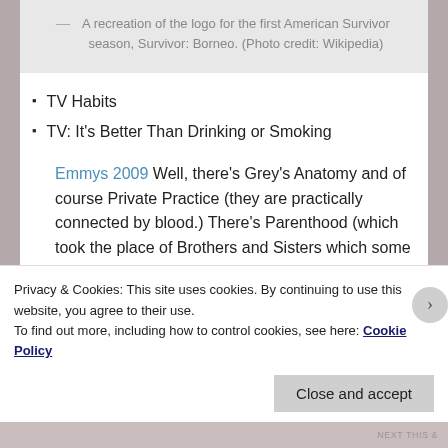— A recreation of the logo for the first American Survivor season, Survivor: Borneo. (Photo credit: Wikipedia)
TV Habits
TV: It's Better Than Drinking or Smoking
Emmys 2009 Well, there's Grey's Anatomy and of course Private Practice (they are practically connected by blood.) There's Parenthood (which took the place of Brothers and Sisters which some moron took off the air.) Modern Family is a must see and I do admit my husband and I found ourselves
Privacy & Cookies: This site uses cookies. By continuing to use this website, you agree to their use.
To find out more, including how to control cookies, see here: Cookie Policy